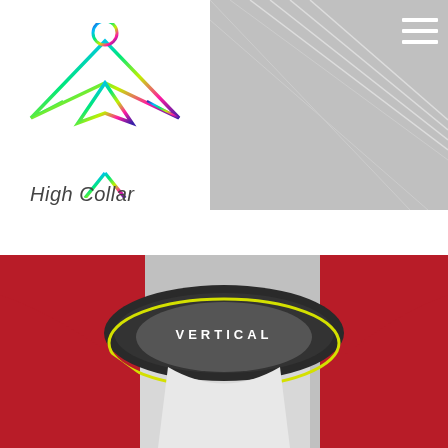[Figure (logo): High Collar brand logo — stylized figure with outstretched arms forming an abstract shape, with iridescent/holographic coloring on a white background]
[Figure (photo): Grey abstract banner with diagonal white lines, hamburger menu icon (three white horizontal bars) in top right corner]
High Collar
[Figure (photo): Close-up photo of a high collar cycling/sports jersey. The collar is black with a yellow accent trim edge reading 'VERTICAL' in white text. The jersey body is red and white/grey.]